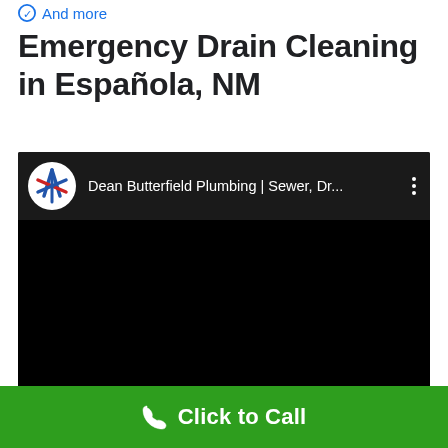And more
Emergency Drain Cleaning in Española, NM
[Figure (screenshot): Embedded YouTube video player with black background. Channel name: Dean Butterfield Plumbing | Sewer, Dr... with channel logo (white circle with red/blue cross symbol).]
Click to Call